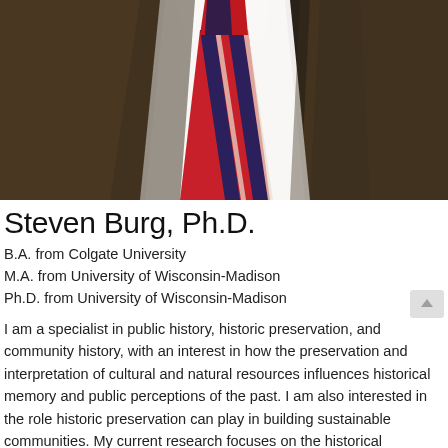[Figure (photo): Cropped photo of a man in a brown tweed jacket, white dress shirt, and red and navy striped tie. Only the torso and lower neck area are visible.]
Steven Burg, Ph.D.
B.A. from Colgate University
M.A. from University of Wisconsin-Madison
Ph.D. from University of Wisconsin-Madison
I am a specialist in public history, historic preservation, and community history, with an interest in how the preservation and interpretation of cultural and natural resources influences historical memory and public perceptions of the past. I am also interested in the role historic preservation can play in building sustainable communities. My current research focuses on the historical